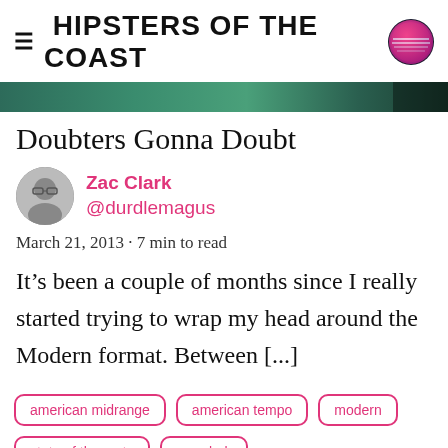HIPSTERS OF THE COAST
[Figure (photo): Hero banner image with dark green foliage background]
Doubters Gonna Doubt
Zac Clark @durdlemagus
March 21, 2013 · 7 min to read
It’s been a couple of months since I really started trying to wrap my head around the Modern format. Between [...]
american midrange
american tempo
modern
state of the meta
zac clark